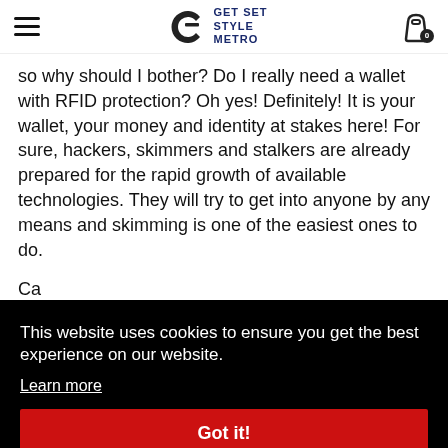GET SET STYLE METRO
so why should I bother? Do I really need a wallet with RFID protection? Oh yes! Definitely! It is your wallet, your money and identity at stakes here! For sure, hackers, skimmers and stalkers are already prepared for the rapid growth of available technologies. They will try to get into anyone by any means and skimming is one of the easiest ones to do.
Ca... RF... pa... wi... re... to...
This website uses cookies to ensure you get the best experience on our website.
Learn more
Got it!
iPhone 15 15 Plus 555